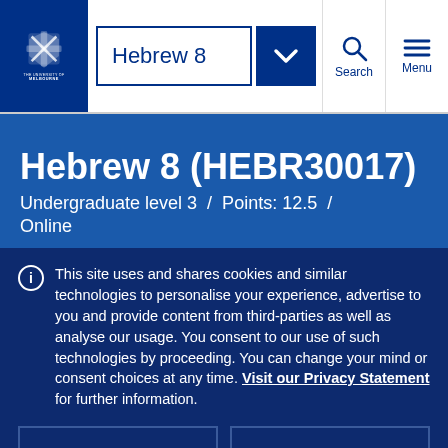Hebrew 8
Hebrew 8 (HEBR30017)
Undergraduate level 3 / Points: 12.5 / Online
This site uses and shares cookies and similar technologies to personalise your experience, advertise to you and provide content from third-parties as well as analyse our usage. You consent to our use of such technologies by proceeding. You can change your mind or consent choices at any time. Visit our Privacy Statement for further information.
Accept cookies
Cookie Preferences